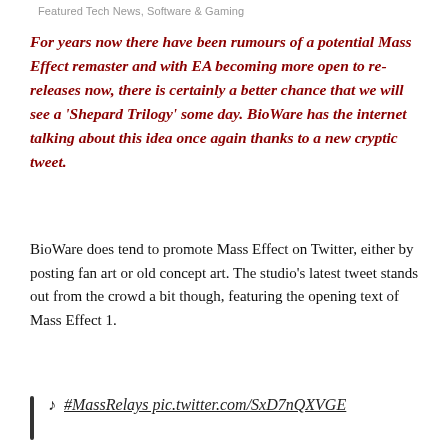Featured Tech News, Software & Gaming
For years now there have been rumours of a potential Mass Effect remaster and with EA becoming more open to re-releases now, there is certainly a better chance that we will see a 'Shepard Trilogy' some day. BioWare has the internet talking about this idea once again thanks to a new cryptic tweet.
BioWare does tend to promote Mass Effect on Twitter, either by posting fan art or old concept art. The studio's latest tweet stands out from the crowd a bit though, featuring the opening text of Mass Effect 1.
♪ #MassRelays pic.twitter.com/SxD7nQXVGE
— BioWare (@bioware) January 14, 2020
Of course, this has spurred rumours of an original trilogy related announcement, alongside fan requests for a remaster. There hasn't been any leaks around this so far, so this is all just rumour